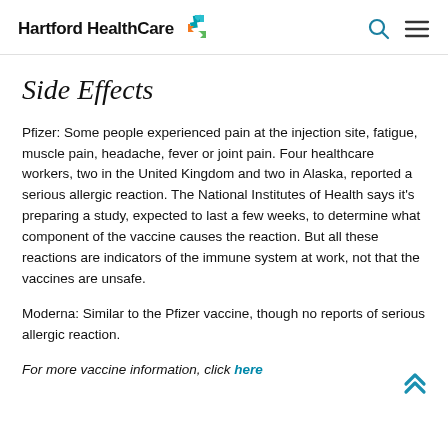Hartford HealthCare
Side Effects
Pfizer: Some people experienced pain at the injection site, fatigue, muscle pain, headache, fever or joint pain. Four healthcare workers, two in the United Kingdom and two in Alaska, reported a serious allergic reaction. The National Institutes of Health says it's preparing a study, expected to last a few weeks, to determine what component of the vaccine causes the reaction. But all these reactions are indicators of the immune system at work, not that the vaccines are unsafe.
Moderna: Similar to the Pfizer vaccine, though no reports of serious allergic reaction.
For more vaccine information, click here